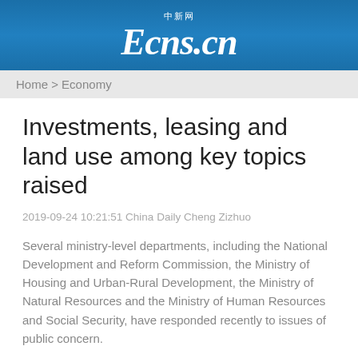[Figure (logo): Ecns.cn logo with Chinese characters on blue gradient background]
Home > Economy
Investments, leasing and land use among key topics raised
2019-09-24 10:21:51 China Daily Cheng Zizhuo
Several ministry-level departments, including the National Development and Reform Commission, the Ministry of Housing and Urban-Rural Development, the Ministry of Natural Resources and the Ministry of Human Resources and Social Security, have responded recently to issues of public concern.
Foreign and domestic investment blocks eased